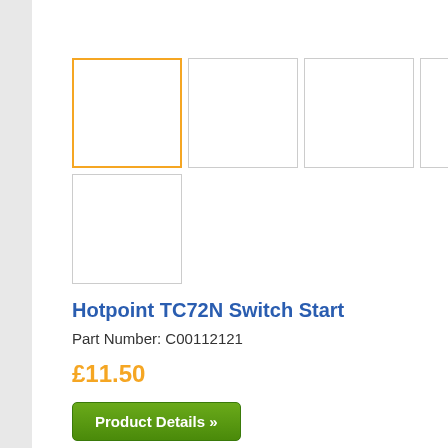[Figure (screenshot): Product thumbnail images — 5 empty white boxes arranged in two rows (first row: 4 boxes, second row: 1 box). First box has orange border indicating selection.]
Hotpoint TC72N Switch Start
Part Number: C00112121
£11.50
Product Details »